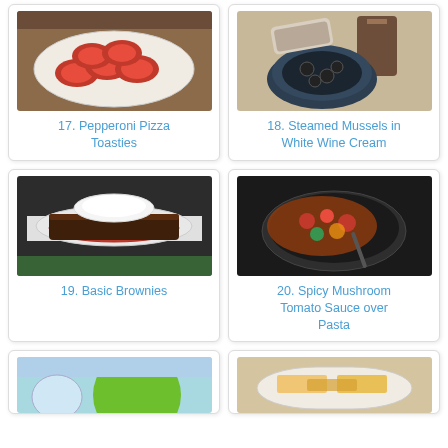[Figure (photo): Pepperoni pizza toasties on a white oval plate with tomato sauce on top]
17. Pepperoni Pizza Toasties
[Figure (photo): Steamed mussels in a dark bowl with bread slices and cream sauce, with a jar in background]
18. Steamed Mussels in White Wine Cream
[Figure (photo): A slice of dark brownie topped with whipped cream on a red plate]
19. Basic Brownies
[Figure (photo): Spicy mushroom tomato sauce over pasta in a dark bowl with a fork]
20. Spicy Mushroom Tomato Sauce over Pasta
[Figure (photo): Partial view of a lime and a blue plate]
[Figure (photo): Partial view of a dish with light colored food on a white plate]